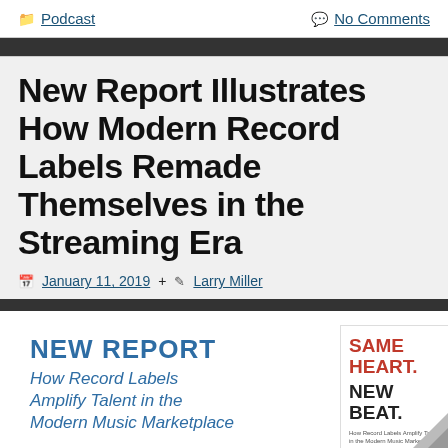Podcast   No Comments
New Report Illustrates How Modern Record Labels Remade Themselves in the Streaming Era
January 11, 2019   By  Larry Miller
[Figure (illustration): Book/report cover image showing 'NEW REPORT: How Record Labels Amplify Talent in the Modern Music Marketplace' alongside a partial cover with 'SAME HEART. NEW BEAT.' text and decorative triangle graphic]